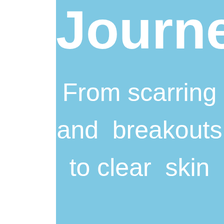Journeys™
From scarring and breakouts to clear skin